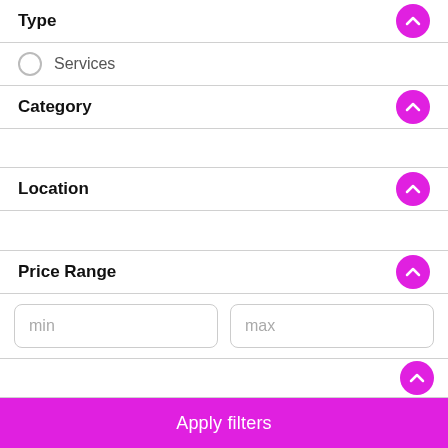Type
Services
Category
Location
Price Range
min
max
Apply filters